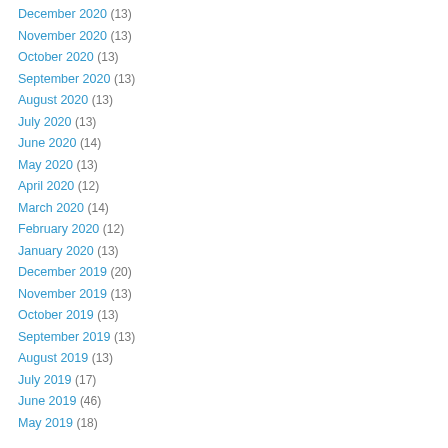December 2020 (13)
November 2020 (13)
October 2020 (13)
September 2020 (13)
August 2020 (13)
July 2020 (13)
June 2020 (14)
May 2020 (13)
April 2020 (12)
March 2020 (14)
February 2020 (12)
January 2020 (13)
December 2019 (20)
November 2019 (13)
October 2019 (13)
September 2019 (13)
August 2019 (13)
July 2019 (17)
June 2019 (46)
May 2019 (18)